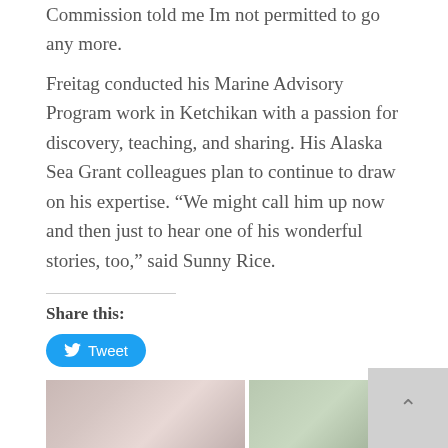Commission told me Im not permitted to go any more.
Freitag conducted his Marine Advisory Program work in Ketchikan with a passion for discovery, teaching, and sharing. His Alaska Sea Grant colleagues plan to continue to draw on his expertise. “We might call him up now and then just to hear one of his wonderful stories, too,” said Sunny Rice.
Share this:
Tweet
Like this:
Loading…
Related
[Figure (photo): Related article thumbnail image showing a person]
[Figure (photo): Related article thumbnail images showing people outdoors]